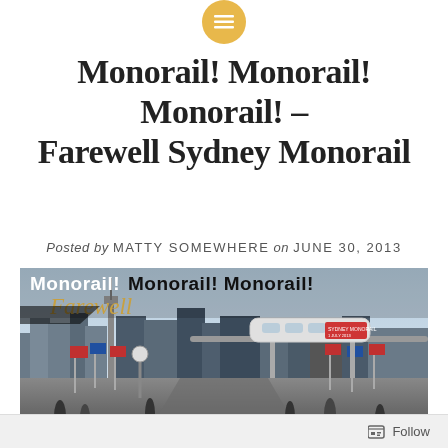Monorail! Monorail! Monorail! – Farewell Sydney Monorail
Posted by MATTY SOMEWHERE on JUNE 30, 2013
[Figure (photo): Blog post header image for Farewell Sydney Monorail showing a monorail train on elevated track over Darling Harbour walkway with Sydney city skyline in background. Overlaid text reads 'Monorail! Monorail! Monorail!' in bold black/white and 'Farewell' in gold italic script.]
Follow